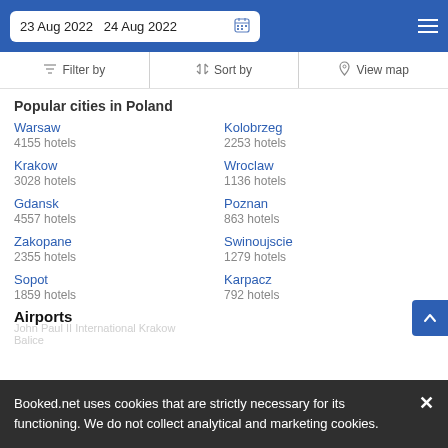23 Aug 2022  24 Aug 2022
Filter by  Sort by  View map
Popular cities in Poland
Warsaw
4155 hotels
Kolobrzeg
2253 hotels
Krakow
3028 hotels
Wroclaw
1136 hotels
Gdansk
4557 hotels
Poznan
863 hotels
Zakopane
2355 hotels
Swinoujscie
1279 hotels
Sopot
1859 hotels
Karpacz
792 hotels
Airports
John Paul II International Krakow
Balice
Booked.net uses cookies that are strictly necessary for its functioning. We do not collect analytical and marketing cookies.